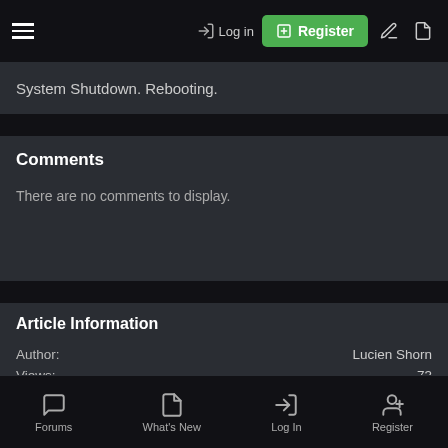≡  Log in  Register
System Shutdown. Rebooting.
Comments
There are no comments to display.
Article Information
Author:
Views:
Last update:
Lucien Shorn
73
Nov 7, 2016
More In Blogs
Forums  What's New  Log In  Register